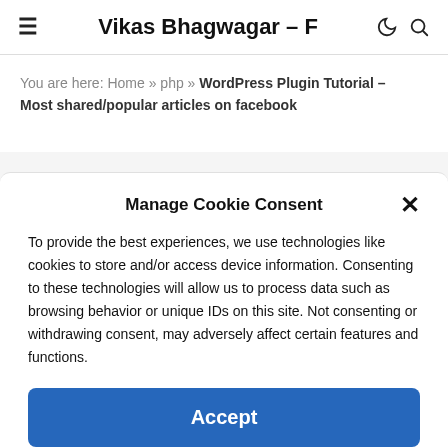Vikas Bhagwagar – F
You are here: Home » php » WordPress Plugin Tutorial – Most shared/popular articles on facebook
Manage Cookie Consent
To provide the best experiences, we use technologies like cookies to store and/or access device information. Consenting to these technologies will allow us to process data such as browsing behavior or unique IDs on this site. Not consenting or withdrawing consent, may adversely affect certain features and functions.
Accept
Cookie Policy About About